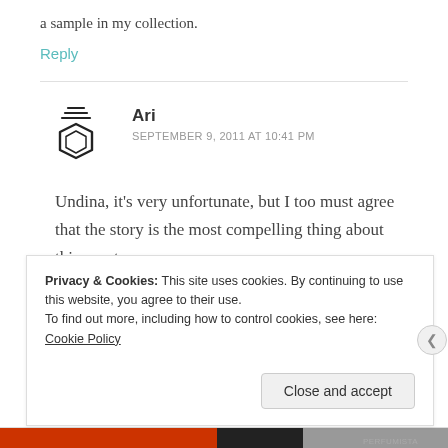a sample in my collection.
Reply
Ari
SEPTEMBER 9, 2011 AT 10:41 PM
[Figure (illustration): Stylized perfume bottle icon — a hexagonal bottle shape with horizontal lines at the top representing a stopper/cap]
Undina, it's very unfortunate, but I too must agree that the story is the most compelling thing about this scent.
Privacy & Cookies: This site uses cookies. By continuing to use this website, you agree to their use.
To find out more, including how to control cookies, see here: Cookie Policy
Close and accept